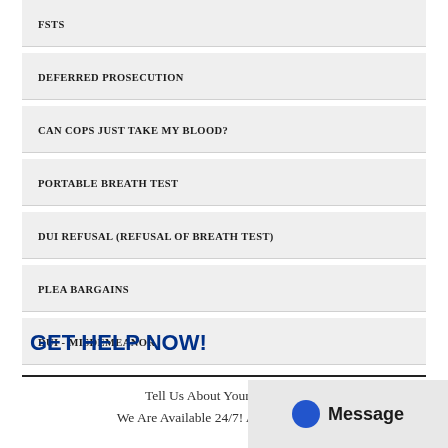FSTS
DEFERRED PROSECUTION
CAN COPS JUST TAKE MY BLOOD?
PORTABLE BREATH TEST
DUI REFUSAL (REFUSAL OF BREATH TEST)
PLEA BARGAINS
DUI - MISDEMEANOR
GET HELP NOW!
Tell Us About Your Case! It's  We Are Available 24/7! After hours line
[Figure (other): Message chat button overlay with blue circle icon and 'Message' text]